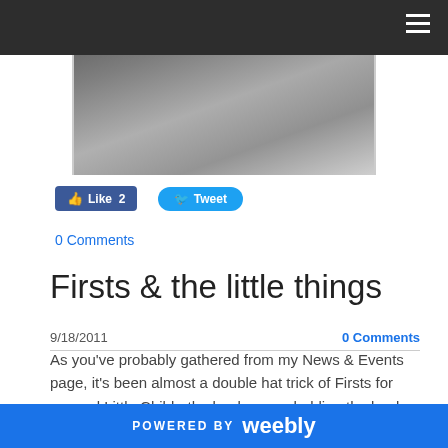[Figure (photo): Dark navigation bar with hamburger menu icon at top right, and a partial photo of a person/baby below it]
Like 2
Tweet
0 Comments
Firsts & the little things
9/18/2011
0 Comments
As you've probably gathered from my News & Events page, it's been almost a double hat trick of Firsts for me and Little Child - the book cover, holding the book, book signing, book review and blog spot - all amazing stuff on this new and exciting publishing journey. And yes, I'm well
POWERED BY weebly